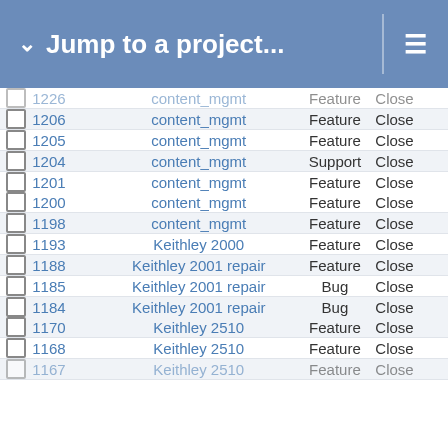Jump to a project...
|  | # | Project | Type | Status |
| --- | --- | --- | --- | --- |
|  | 1226 | content_mgmt | Feature | Close |
|  | 1206 | content_mgmt | Feature | Close |
|  | 1205 | content_mgmt | Feature | Close |
|  | 1204 | content_mgmt | Support | Close |
|  | 1201 | content_mgmt | Feature | Close |
|  | 1200 | content_mgmt | Feature | Close |
|  | 1198 | content_mgmt | Feature | Close |
|  | 1193 | Keithley 2000 | Feature | Close |
|  | 1188 | Keithley 2001 repair | Feature | Close |
|  | 1185 | Keithley 2001 repair | Bug | Close |
|  | 1184 | Keithley 2001 repair | Bug | Close |
|  | 1170 | Keithley 2510 | Feature | Close |
|  | 1168 | Keithley 2510 | Feature | Close |
|  | 1167 | Keithley 2510 | Feature | Close |